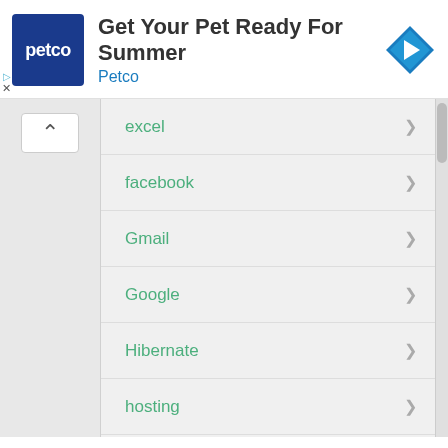[Figure (screenshot): Petco advertisement banner with Petco logo on dark blue square, text 'Get Your Pet Ready For Summer' and 'Petco' in blue, and a blue diamond navigation icon on the right.]
excel
facebook
Gmail
Google
Hibernate
hosting
HTML